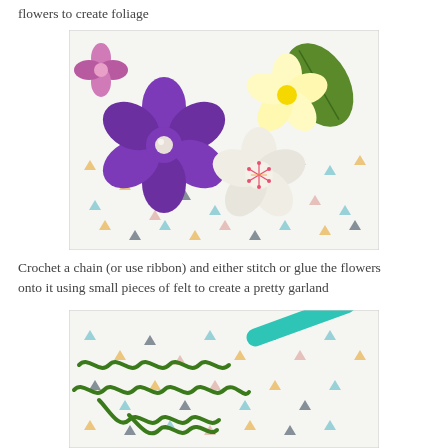flowers to create foliage
[Figure (photo): Close-up photo of handmade fabric flowers on a patterned background with small colorful triangles. A large purple flower with a pearl center is prominent, alongside cream/white felt flowers, one with pink embroidered center, and a green felt leaf.]
Crochet a chain (or use ribbon) and either stitch or glue the flowers onto it using small pieces of felt to create a pretty garland
[Figure (photo): Photo of green crochet chain yarn on a patterned triangle fabric background, with a teal/turquoise crochet hook visible at the top right.]